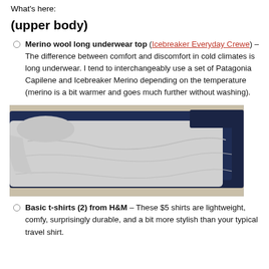What's here:
(upper body)
Merino wool long underwear top (Icebreaker Everyday Crewe) – The difference between comfort and discomfort in cold climates is long underwear. I tend to interchangeably use a set of Patagonia Capilene and Icebreaker Merino depending on the temperature (merino is a bit warmer and goes much further without washing).
[Figure (photo): A stack of folded t-shirts — one light gray heather on top and two dark navy shirts beneath, laid on a light beige surface.]
Basic t-shirts (2) from H&M – These $5 shirts are lightweight, comfy, surprisingly durable, and a bit more stylish than your typical travel shirt.